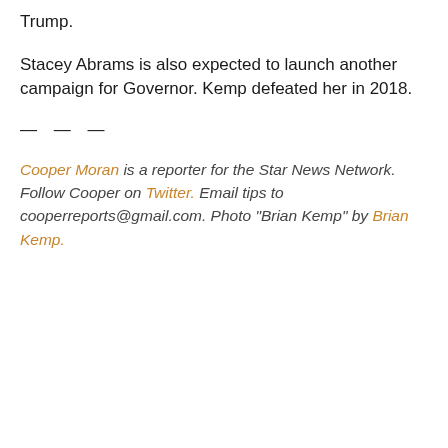Trump.
Stacey Abrams is also expected to launch another campaign for Governor. Kemp defeated her in 2018.
— — —
Cooper Moran is a reporter for the Star News Network. Follow Cooper on Twitter. Email tips to cooperreports@gmail.com. Photo “Brian Kemp” by Brian Kemp.